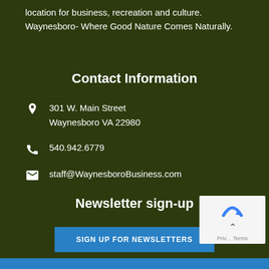location for business, recreation and culture. Waynesboro- Where Good Nature Comes Naturally.
Contact Information
301 W. Main Street
Waynesboro VA 22980
540.942.6779
staff@WaynesboroBusiness.com
Newsletter sign-up
SIGN UP FOR NEWSLETTERS